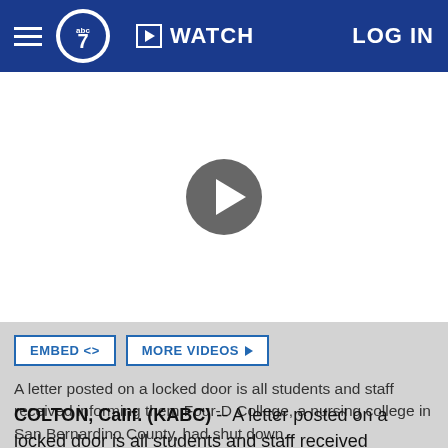abc7 | WATCH | LOG IN
[Figure (screenshot): Video player area with a circular dark play button in the center on a white background]
A letter posted on a locked door is all students and staff received informing them Four-D College, a nursing college in San Bernardino County, had shut down.
COLTON, Calif. (KABC) -- A letter posted on a locked door is all students and staff received